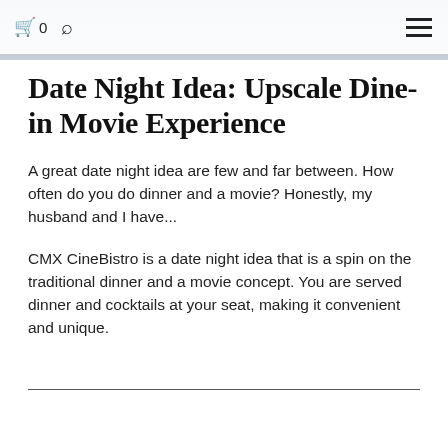🛒 0  🔍  ☰
[Figure (photo): Partial hero image at the top of the page, muted blue-gray tones]
Date Night Idea: Upscale Dine-in Movie Experience
A great date night idea are few and far between. How often do you do dinner and a movie? Honestly, my husband and I have...
CMX CineBistro is a date night idea that is a spin on the traditional dinner and a movie concept. You are served dinner and cocktails at your seat, making it convenient and unique.